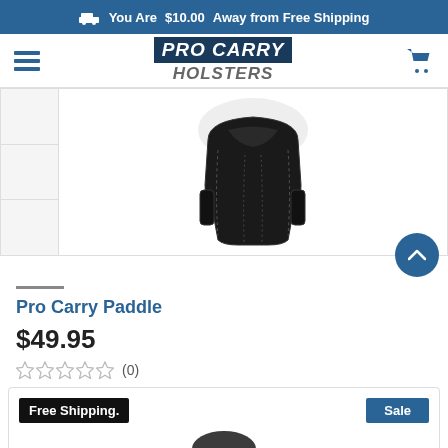You Are $10.00 Away from Free Shipping
[Figure (logo): Pro Carry Holsters logo with hamburger menu on left and cart icon on right]
[Figure (photo): Black leather paddle holster product photo on white background with thumbnail strip on left]
Pro Carry Paddle
$49.95
☆☆☆☆☆ (0)
Free Shipping.
Sale